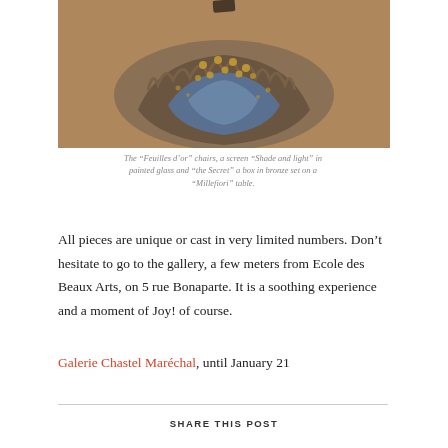[Figure (photo): A sculptural object resembling a large shell or organic form in brown/blue tones with gold circular details on top, photographed from above on a warm background.]
The “Feuilles d’or” chairs, a screen “Shade and light” in painted glass and “the Secret” a box in bronze set on a “Millefiori” table.
All pieces are unique or cast in very limited numbers. Don’t hesitate to go to the gallery, a few meters from Ecole des Beaux Arts, on 5 rue Bonaparte. It is a soothing experience and a moment of Joy! of course.
Galerie Chastel Maréchal, until January 21
SHARE THIS POST